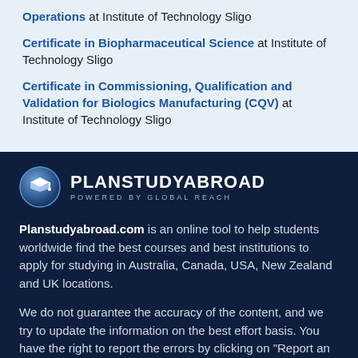Operations at Institute of Technology Sligo
Certificate in Biopharmaceutical Science at Institute of Technology Sligo
Certificate in Commissioning, Qualification and Validation for Biologics Manufacturing (CQV) at Institute of Technology Sligo
[Figure (logo): PlanStudyAbroad logo — circular badge with graduation cap icon and text PLANSTUDYABROAD / POWERED BY GLOBAL REACH]
Planstudyabroad.com is an online tool to help students worldwide find the best courses and best institutions to apply for studying in Australia, Canada, USA, New Zealand and UK locations.
We do not guarantee the accuracy of the content, and we try to update the information on the best effort basis. You have the right to report the errors by clicking on "Report an Error on this Page".